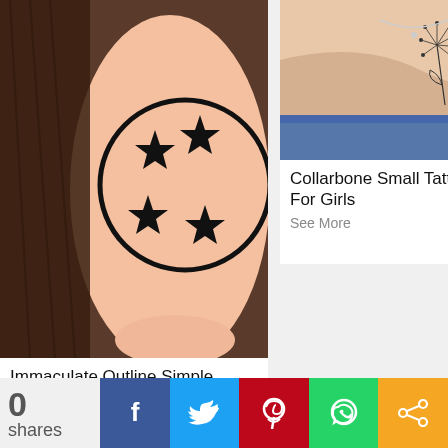[Figure (photo): Close-up photo of a forearm tattoo showing a circle with four stars inside, resembling a Dragon Ball. Dark background with hair visible.]
Immaculate Outline Simple Tattoo
See More
[Figure (photo): Photo of a collarbone/shoulder area with a small delicate dandelion tattoo on skin, blue jeans visible at bottom.]
Collarbone Small Tattoo Design For Girls
See More
0 shares
[Figure (infographic): Social share bar with Facebook, Twitter, Pinterest, WhatsApp, and share buttons]